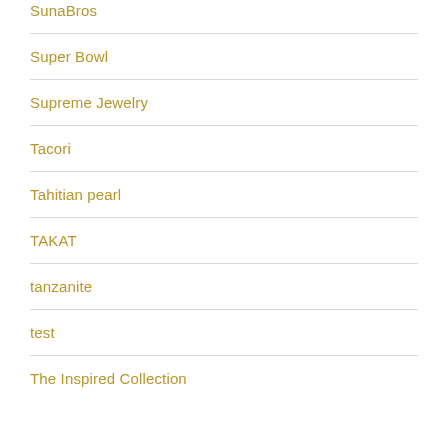SunaBros
Super Bowl
Supreme Jewelry
Tacori
Tahitian pearl
TAKAT
tanzanite
test
The Inspired Collection